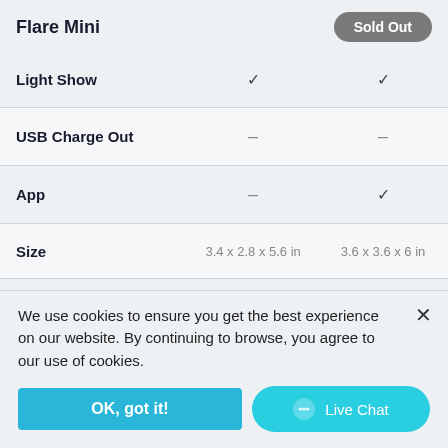Flare Mini | Sold Out
| Feature | Col1 | Col2 |
| --- | --- | --- |
| Light Show | ✓ | ✓ |
| USB Charge Out | – | – |
| App | – | ✓ |
| Size | 3.4 x 2.8 x 5.6 in | 3.6 x 3.6 x 6 in |
We use cookies to ensure you get the best experience on our website. By continuing to browse, you agree to our use of cookies.
OK, got it!
Live Chat